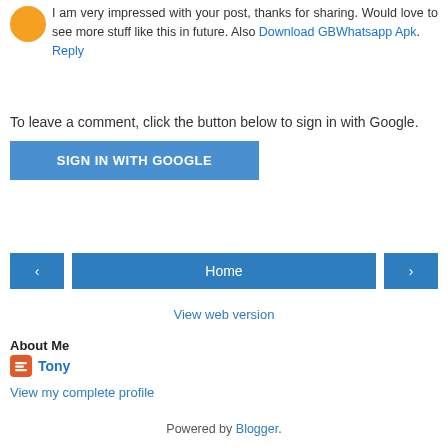I am very impressed with your post, thanks for sharing. Would love to see more stuff like this in future. Also Download GBWhatsapp Apk.
Reply
To leave a comment, click the button below to sign in with Google.
[Figure (other): Blue button labeled SIGN IN WITH GOOGLE]
[Figure (other): Navigation buttons: left arrow, Home, right arrow]
View web version
About Me
Tony
View my complete profile
Powered by Blogger.